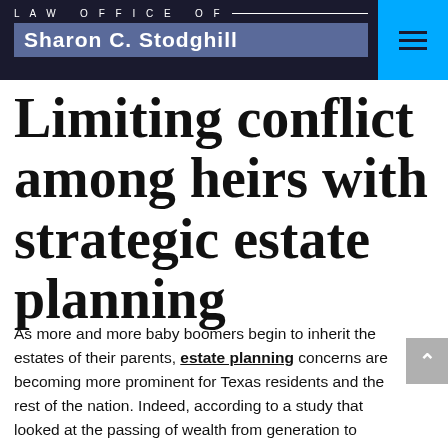LAW OFFICE OF Sharon C. Stodghill
Limiting conflict among heirs with strategic estate planning
As more and more baby boomers begin to inherit the estates of their parents, estate planning concerns are becoming more prominent for Texas residents and the rest of the nation. Indeed, according to a study that looked at the passing of wealth from generation to generation, baby boomers are set to inherit a total of $8.4 trillion in assets in the coming years. The average inheritance is estimated to